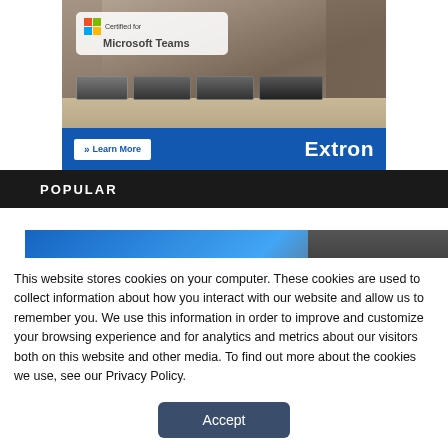[Figure (screenshot): Extron advertisement banner showing a meeting room photo with Microsoft Teams Certified badge and rack-mounted AV devices. Blue bar at bottom with 'Learn More' button and Extron logo.]
POPULAR
[Figure (screenshot): Partial blue gradient banner image strip.]
This website stores cookies on your computer. These cookies are used to collect information about how you interact with our website and allow us to remember you. We use this information in order to improve and customize your browsing experience and for analytics and metrics about our visitors both on this website and other media. To find out more about the cookies we use, see our Privacy Policy.
Accept